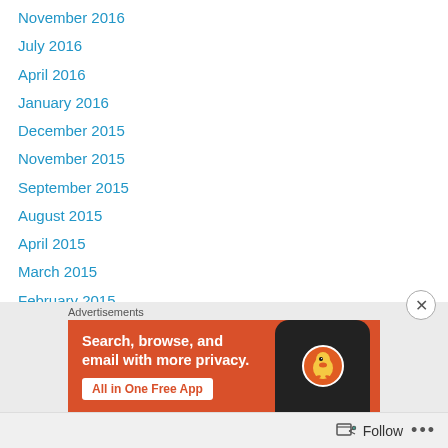November 2016
July 2016
April 2016
January 2016
December 2015
November 2015
September 2015
August 2015
April 2015
March 2015
February 2015
December 2014
April 2014
March 2014
[Figure (screenshot): DuckDuckGo advertisement banner with orange background showing 'Search, browse, and email with more privacy. All in One Free App' with phone graphic and DuckDuckGo logo]
Follow